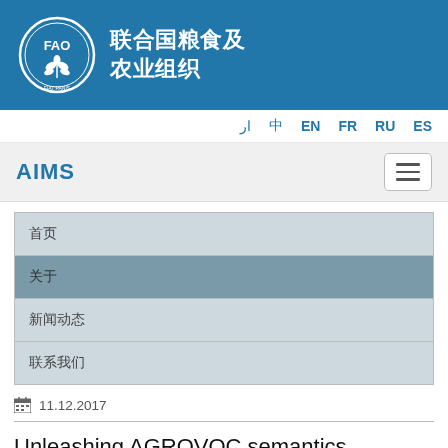FAO 联合国粮食及农业组织
ار 中 EN FR RU ES
AIMS
首页
关于
新闻动态
联系我们
11.12.2017
Unleashing AGROVOC semantics coverage in Turkish. An interview with Yasemin Çevik - Part 1